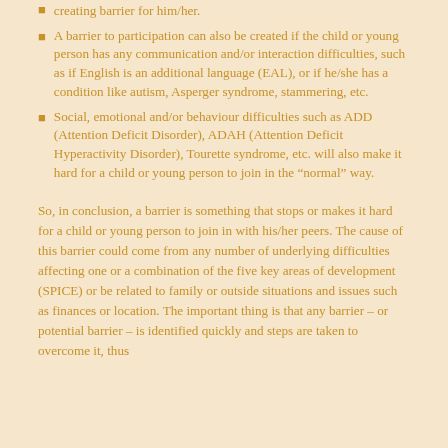creating barrier for him/her.
A barrier to participation can also be created if the child or young person has any communication and/or interaction difficulties, such as if English is an additional language (EAL), or if he/she has a condition like autism, Asperger syndrome, stammering, etc.
Social, emotional and/or behaviour difficulties such as ADD (Attention Deficit Disorder), ADAH (Attention Deficit Hyperactivity Disorder), Tourette syndrome, etc. will also make it hard for a child or young person to join in the “normal” way.
So, in conclusion, a barrier is something that stops or makes it hard for a child or young person to join in with his/her peers. The cause of this barrier could come from any number of underlying difficulties affecting one or a combination of the five key areas of development (SPICE) or be related to family or outside situations and issues such as finances or location. The important thing is that any barrier – or potential barrier – is identified quickly and steps are taken to overcome it, thus